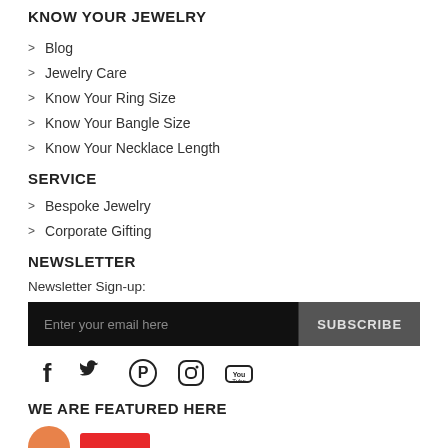KNOW YOUR JEWELRY
Blog
Jewelry Care
Know Your Ring Size
Know Your Bangle Size
Know Your Necklace Length
SERVICE
Bespoke Jewelry
Corporate Gifting
NEWSLETTER
Newsletter Sign-up:
Enter your email here  SUBSCRIBE
[Figure (infographic): Social media icons: Facebook, Twitter, Pinterest, Instagram, YouTube]
WE ARE FEATURED HERE
[Figure (logo): Two featured publication logos: an orange circle logo and a red rectangular logo]